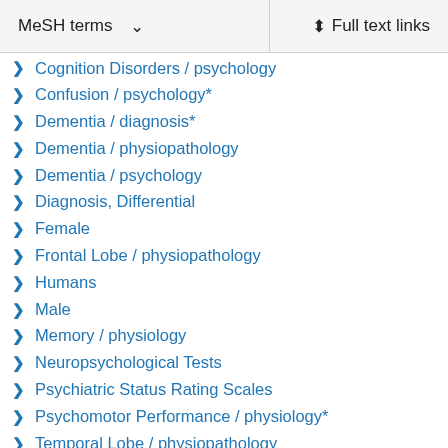MeSH terms   Full text links
Cognition Disorders / psychology
Confusion / psychology*
Dementia / diagnosis*
Dementia / physiopathology
Dementia / psychology
Diagnosis, Differential
Female
Frontal Lobe / physiopathology
Humans
Male
Memory / physiology
Neuropsychological Tests
Psychiatric Status Rating Scales
Psychomotor Performance / physiology*
Temporal Lobe / physiopathology
Related information